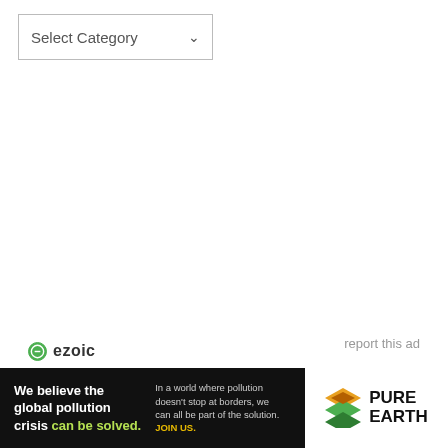[Figure (screenshot): A dropdown UI element labeled 'Select Category' with a downward chevron arrow, styled with a light gray border]
[Figure (logo): Ezoic logo — green circle icon with 'ezoic' text in bold dark letters]
report this ad
[Figure (illustration): Gray rectangle partially visible at bottom right, representing an ad placeholder]
[Figure (infographic): Pure Earth advertisement banner. Left black section: 'We believe the global pollution crisis can be solved.' Right white section with Pure Earth logo showing diamond/layered shape icon and 'PURE EARTH' text. Middle text: 'In a world where pollution doesn't stop at borders, we can all be part of the solution. JOIN US.']